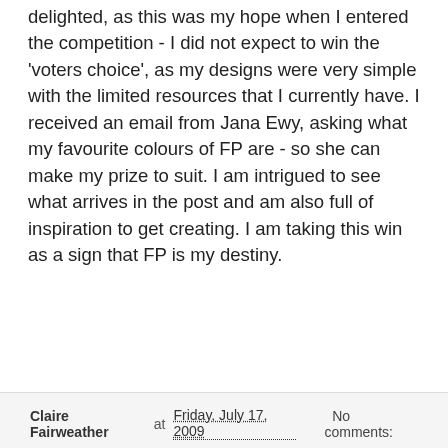delighted, as this was my hope when I entered the competition - I did not expect to win the 'voters choice', as my designs were very simple with the limited resources that I currently have. I received an email from Jana Ewy, asking what my favourite colours of FP are - so she can make my prize to suit. I am intrigued to see what arrives in the post and am also full of inspiration to get creating. I am taking this win as a sign that FP is my destiny.
Claire Fairweather at Friday, July 17, 2009   No comments:
12 July 2009
Two more NZ inspired paintings
[Figure (illustration): A painting of a New Zealand coastal landscape with hills/islands in the background, a moon or sun in the sky, water in the middle ground, and flax plants in the foreground.]